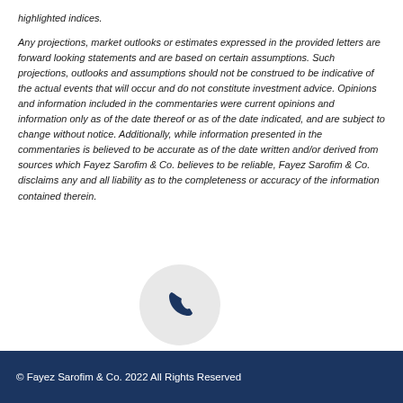highlighted indices.
Any projections, market outlooks or estimates expressed in the provided letters are forward looking statements and are based on certain assumptions. Such projections, outlooks and assumptions should not be construed to be indicative of the actual events that will occur and do not constitute investment advice. Opinions and information included in the commentaries were current opinions and information only as of the date thereof or as of the date indicated, and are subject to change without notice. Additionally, while information presented in the commentaries is believed to be accurate as of the date written and/or derived from sources which Fayez Sarofim & Co. believes to be reliable, Fayez Sarofim & Co. disclaims any and all liability as to the completeness or accuracy of the information contained therein.
[Figure (illustration): Phone handset icon inside a light gray circle]
© Fayez Sarofim & Co. 2022 All Rights Reserved